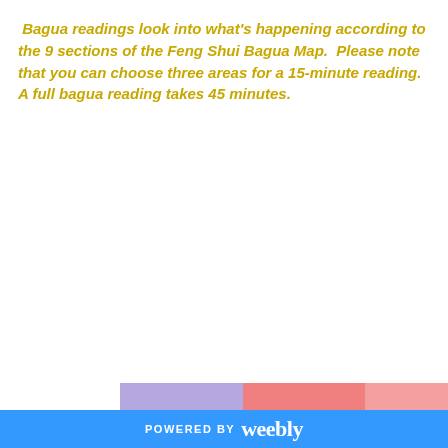Bagua readings look into what's happening according to the 9 sections of the Feng Shui Bagua Map.  Please note that you can choose three areas for a 15-minute reading. A full bagua reading takes 45 minutes.
[Figure (infographic): A 3x2 grid showing the Feng Shui Bagua Map sections. Top row: Wealth & Prosperity (purple), Fame & Reputation (red/pink), Love & Marriage (pink). Middle row: Health & Ancestors (teal/green), Health & Center (yellow), Children & Creativity (light gray/white). Bottom row shows partial colored strips. Each cell is color-coded and labeled in bold text.]
POWERED BY weebly